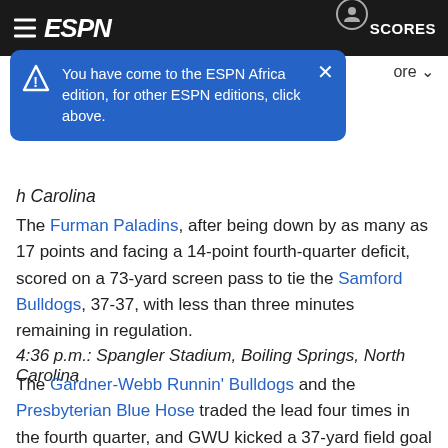ESPN Africa edition notification header with hamburger menu, ESPN logo, user icon, SCORES
You have come to the ESPN Africa edition, for other ESPN editions, click above.
h Carolina
The Furman Paladins, after being down by as many as 17 points and facing a 14-point fourth-quarter deficit, scored on a 73-yard screen pass to tie the Samford Bulldogs, 37-37, with less than three minutes remaining in regulation.
4:36 p.m.: Spangler Stadium, Boiling Springs, North Carolina
The Gardner-Webb Runnin' Bulldogs and the Presbyterian Blue Hose traded the lead four times in the fourth quarter, and GWU kicked a 37-yard field goal to send the game to OT.
4:38 p.m.: Greenville
The Paladins scored a TD in OT to take a 44-37 lead over the Blue Hose, all while the Furman University home crowd broke into what is perhaps college football's greatest cheer: "F-U one